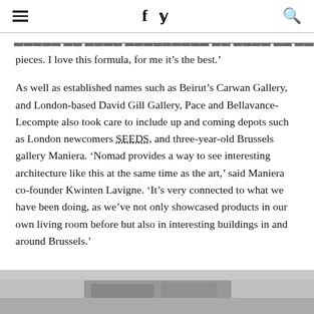≡   f   𝕏   🔍
pieces. I love this formula, for me it's the best.'
As well as established names such as Beirut's Carwan Gallery, and London-based David Gill Gallery, Pace and Bellavance-Lecompte also took care to include up and coming depots such as London newcomers SEEDS, and three-year-old Brussels gallery Maniera. 'Nomad provides a way to see interesting architecture like this at the same time as the art,' said Maniera co-founder Kwinten Lavigne. 'It's very connected to what we have been doing, as we've not only showcased products in our own living room before but also in interesting buildings in and around Brussels.'
[Figure (photo): Partial bottom image strip, appears to be a photograph, mostly grey/muted tones]